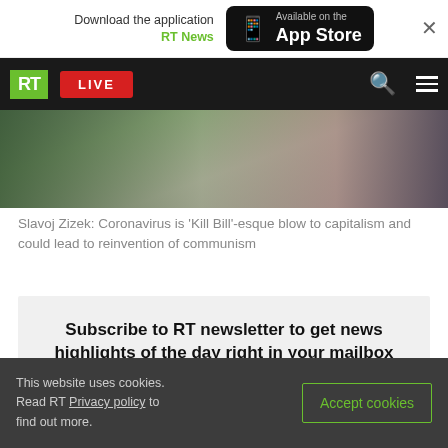Download the application RT News — Available on the App Store
[Figure (screenshot): RT news website navigation bar with green RT logo, red LIVE button, search icon, and hamburger menu on black background]
[Figure (photo): Blurred news video thumbnail showing people in background]
Slavoj Zizek: Coronavirus is 'Kill Bill'-esque blow to capitalism and could lead to reinvention of communism
Subscribe to RT newsletter to get news highlights of the day right in your mailbox
This website uses cookies. Read RT Privacy policy to find out more. Accept cookies